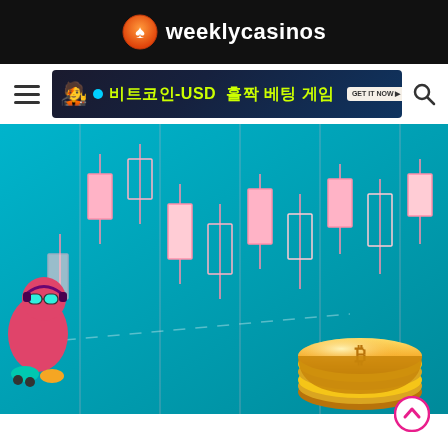weeklycasinos
[Figure (screenshot): Navigation bar with hamburger menu icon, an advertisement banner showing Korean text '비트코인-USD 홀짝 베팅 게임' (Bitcoin-USD odd/even betting game) with animated character and coins, and a search icon]
[Figure (illustration): Promotional game illustration showing a candlestick chart background in teal/blue, a cartoon character on the left wearing sunglasses and headphones, and a pile of gold coins on the right]
[Figure (other): Pink scroll-to-top arrow button circle in bottom right corner]